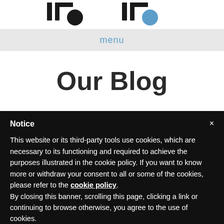[Figure (logo): Two logo marks side by side — left is dark/black numbered logo, right is blue numbered logo]
menu
Our Blog
Notice
This website or its third-party tools use cookies, which are necessary to its functioning and required to achieve the purposes illustrated in the cookie policy. If you want to know more or withdraw your consent to all or some of the cookies, please refer to the cookie policy. By closing this banner, scrolling this page, clicking a link or continuing to browse otherwise, you agree to the use of cookies.